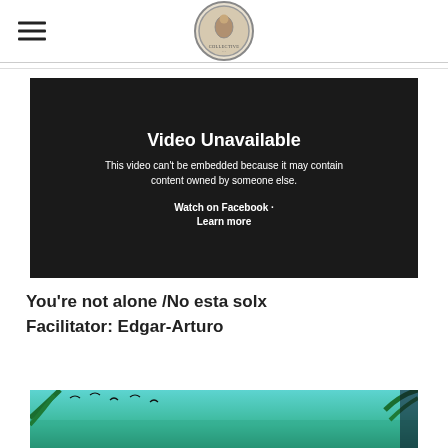Navigation header with hamburger menu and circular logo
[Figure (screenshot): Video unavailable embed placeholder with dark background. Text reads: 'Video Unavailable — This video can't be embedded because it may contain content owned by someone else. Watch on Facebook · Learn more']
You're not alone /No esta solx
Facilitator: Edgar-Arturo
[Figure (photo): Partial thumbnail of an illustrated/painted scene with tropical foliage and ocean in teal/green tones]